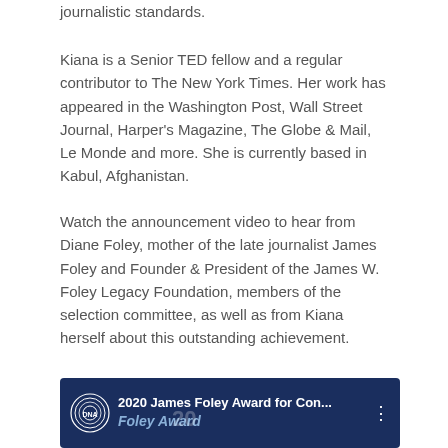journalistic standards.
Kiana is a Senior TED fellow and a regular contributor to The New York Times. Her work has appeared in the Washington Post, Wall Street Journal, Harper's Magazine, The Globe & Mail, Le Monde and more. She is currently based in Kabul, Afghanistan.
Watch the announcement video to hear from Diane Foley, mother of the late journalist James Foley and Founder & President of the James W. Foley Legacy Foundation, members of the selection committee, as well as from Kiana herself about this outstanding achievement.
[Figure (screenshot): Video thumbnail showing dark navy blue background with DNA logo circle on the left, text '2020 James Foley Award for Con...' in white, three dots menu icon, and 'Foley Award' subtitle text partially visible at bottom.]